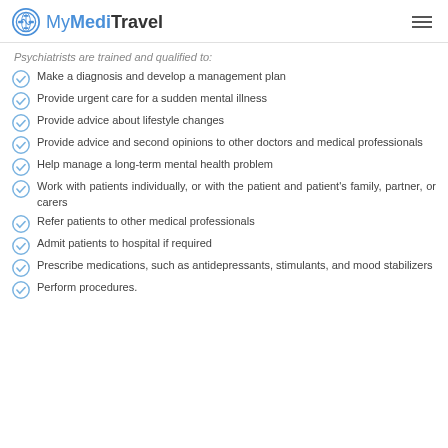MyMediTravel
Psychiatrists are trained and qualified to:
Make a diagnosis and develop a management plan
Provide urgent care for a sudden mental illness
Provide advice about lifestyle changes
Provide advice and second opinions to other doctors and medical professionals
Help manage a long-term mental health problem
Work with patients individually, or with the patient and patient's family, partner, or carers
Refer patients to other medical professionals
Admit patients to hospital if required
Prescribe medications, such as antidepressants, stimulants, and mood stabilizers
Perform procedures.